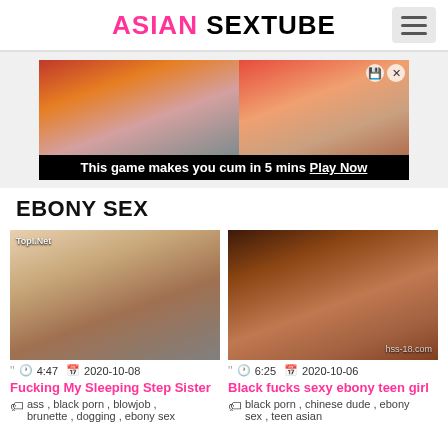ASIAN SEXTUBE
[Figure (screenshot): Advertisement banner: 'This game makes you cum in 5 mins Play Now']
EBONY SEX
[Figure (photo): Thumbnail for 'Fucking My Sleeping Step Sister' video]
" 4:47  2020-10-08
Fucking My Sleeping Step Sister
ass , black porn , blowjob , brunette , dogging , ebony sex
[Figure (photo): Thumbnail for 'Black fucks sexy ebony teen girl' video]
" 6:25  2020-10-06
Black fucks sexy ebony teen girl
black porn , chinese dude , ebony sex , teen asian